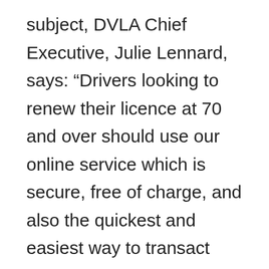subject, DVLA Chief Executive, Julie Lennard, says: “Drivers looking to renew their licence at 70 and over should use our online service which is secure, free of charge, and also the quickest and easiest way to transact with DVLA. Customers usually receive their driving licence in just 5 days. Always remember to always use GOV.UK when using any